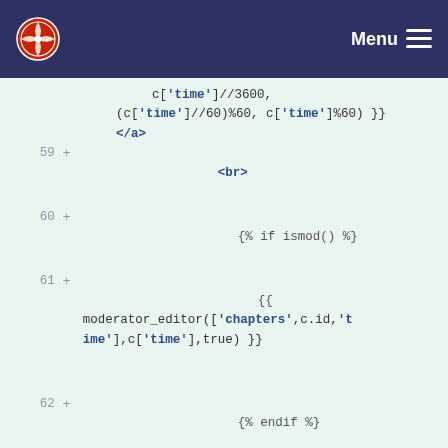Menu
c['time']//3600,
(c['time']//60)%60, c['time']%60) }}
</a>
59 +
<br>
60 +
{% if ismod() %}
61 +
{{ moderator_editor(['chapters',c.id,'time'],c['time'],true) }}
62 +
{% endif %}
63 +
</td>
64 +
<td>{{ moderator_editor(['chapters',c.id,'text'],c['text']|e) }}</td>
65 +